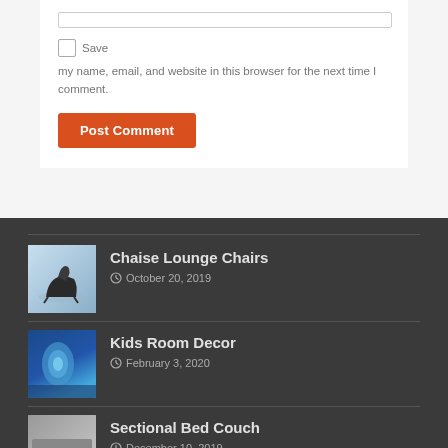Save my name, email, and website in this browser for the next time I comment.
Post Comment
Chaise Lounge Chairs — October 20, 2019
Kids Room Decor — February 3, 2020
Sectional Bed Couch — December 10, 2019